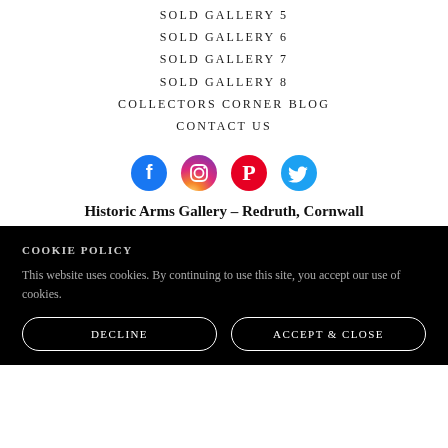SOLD GALLERY 5
SOLD GALLERY 6
SOLD GALLERY 7
SOLD GALLERY 8
COLLECTORS CORNER BLOG
CONTACT US
[Figure (infographic): Four social media icons in a row: Facebook (blue circle), Instagram (pink/gradient circle), Pinterest (red circle), Twitter (blue circle)]
Historic Arms Gallery – Redruth, Cornwall
COOKIE POLICY
This website uses cookies. By continuing to use this site, you accept our use of cookies.
DECLINE
ACCEPT & CLOSE